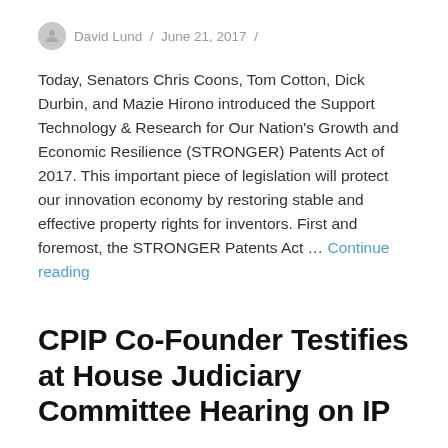David Lund / June 21, 2017 /
Today, Senators Chris Coons, Tom Cotton, Dick Durbin, and Mazie Hirono introduced the Support Technology & Research for Our Nation's Growth and Economic Resilience (STRONGER) Patents Act of 2017. This important piece of legislation will protect our innovation economy by restoring stable and effective property rights for inventors. First and foremost, the STRONGER Patents Act … Continue reading
CPIP Co-Founder Testifies at House Judiciary Committee Hearing on IP
David Lund / June 13, 2017 /